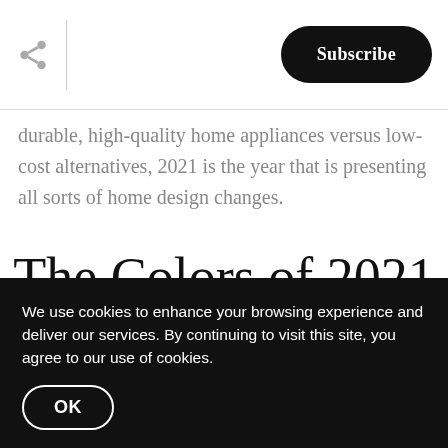Subscribe
durable, high-quality home appliances versus low-cost alternatives, 2021 is the year that is presenting all sorts of home design changes.
The Colors of 2021
We use cookies to enhance your browsing experience and deliver our services. By continuing to visit this site, you agree to our use of cookies.
OK